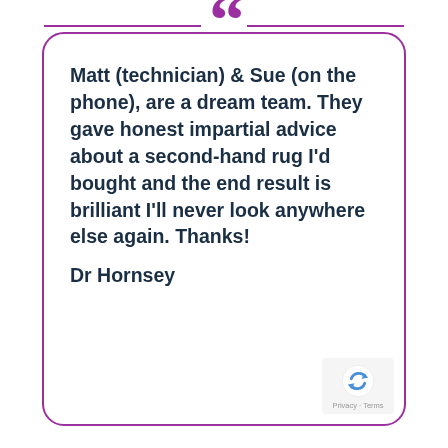Matt (technician) & Sue (on the phone), are a dream team. They gave honest impartial advice about a second-hand rug I'd bought and the end result is brilliant I'll never look anywhere else again. Thanks!
Dr Hornsey